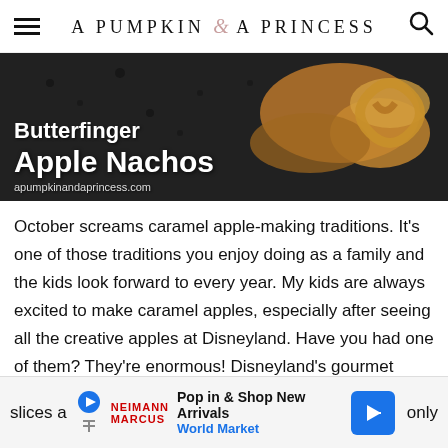A PUMPKIN & A PRINCESS
[Figure (photo): Close-up photo of Butterfinger Apple Nachos with caramel drizzle on dark background. Text overlay reads 'Butterfinger Apple Nachos' and 'apumpkinandaprincess.com']
October screams caramel apple-making traditions. It’s one of those traditions you enjoy doing as a family and the kids look forward to every year. My kids are always excited to make caramel apples, especially after seeing all the creative apples at Disneyland. Have you had one of them? They’re enormous! Disneyland’s gourmet apples are filled with inspiration for our own caramel apple making traditions. Last year the little kids had a hard time biting into their apples so we cut them into slices a only
[Figure (other): Advertisement banner: Pop in & Shop New Arrivals - World Market]